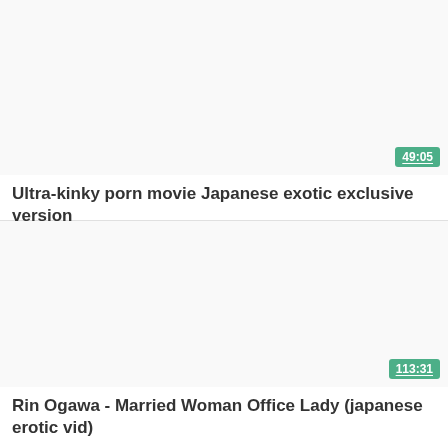[Figure (screenshot): Video thumbnail placeholder, light gray/white background with duration badge showing 49:05]
Ultra-kinky porn movie Japanese exotic exclusive version
[Figure (screenshot): Video thumbnail placeholder, light gray/white background with duration badge showing 113:31]
Rin Ogawa - Married Woman Office Lady (japanese erotic vid)